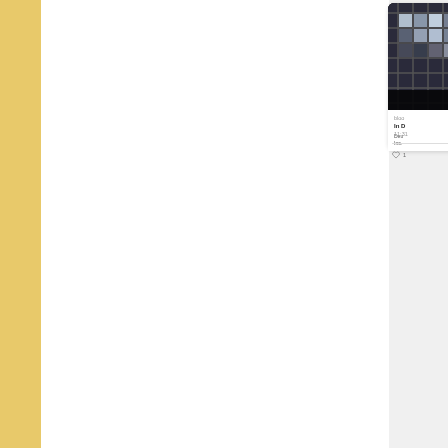[Figure (screenshot): Partial screenshot of a social media or news feed interface showing a golden/yellow vertical bar on the left, a white content area in the center, and a news card on the right edge. The news card contains a photo of a glass building facade with grid-like windows, source label starting with 'bloo' (Bloomberg), bold headline starting with 'In D', excerpt starting with 'Deu' and 'Inc.', timestamp '11:31', a heart/like icon with count '1', and a rounded action button.]